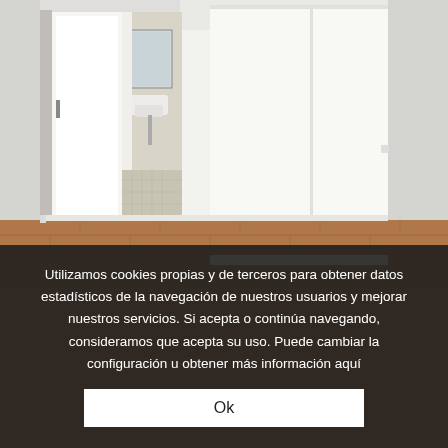[Figure (photo): Interior of an empty room with white walls and wooden laminate floor. A bathroom is visible through an open door on the left, with a wall-mounted sink and mirror. On the right is a large built-in white wardrobe. The room is bright and modern.]
Utilizamos cookies propias y de terceros para obtener datos estadísticos de la navegación de nuestros usuarios y mejorar nuestros servicios. Si acepta o continúa navegando, consideramos que acepta su uso. Puede cambiar la configuración u obtener más información aquí
Ok